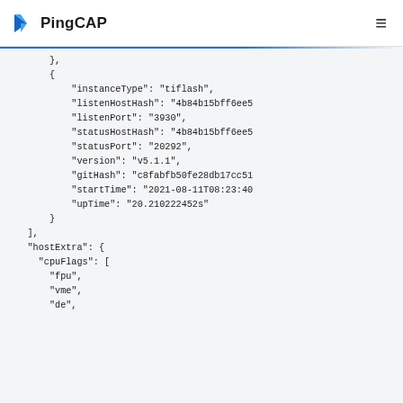PingCAP
},
{
    "instanceType": "tiflash",
    "listenHostHash": "4b84b15bff6ee5
    "listenPort": "3930",
    "statusHostHash": "4b84b15bff6ee5
    "statusPort": "20292",
    "version": "v5.1.1",
    "gitHash": "c8fabfb50fe28db17cc51
    "startTime": "2021-08-11T08:23:40
    "upTime": "20.210222452s"
}
],
"hostExtra": {
  "cpuFlags": [
    "fpu",
    "vme",
    "de",